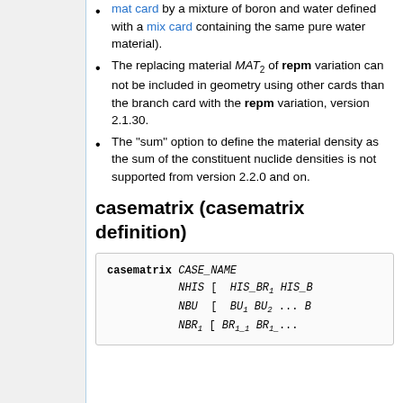mat card by a mixture of boron and water defined with a mix card containing the same pure water material).
The replacing material MAT_2 of repm variation can not be included in geometry using other cards than the branch card with the repm variation, version 2.1.30.
The "sum" option to define the material density as the sum of the constituent nuclide densities is not supported from version 2.2.0 and on.
casematrix (casematrix definition)
casematrix CASE_NAME
           NHIS [ HIS_BR1 HIS_B...
           NBU  [ BU1 BU2 ... B...
           NBR1 [ BR1_1 BR1_...